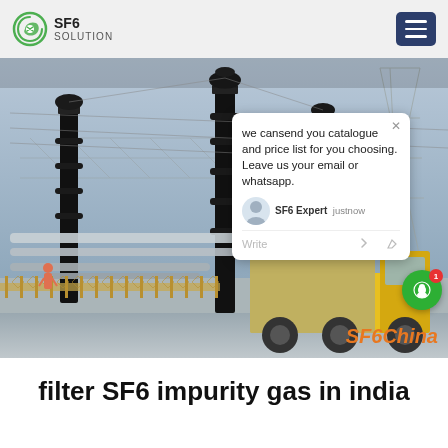SF6 SOLUTION
[Figure (photo): Electrical substation with tall insulator columns, high-voltage transmission lines and lattice towers, and a yellow industrial truck in the foreground. An SF6China watermark is in the lower right corner. A chat popup overlay reads: 'we can send you catalogue and price list for you choosing. Leave us your email or whatsapp.' with SF6 Expert and 'just now' label.]
filter SF6 impurity gas in india